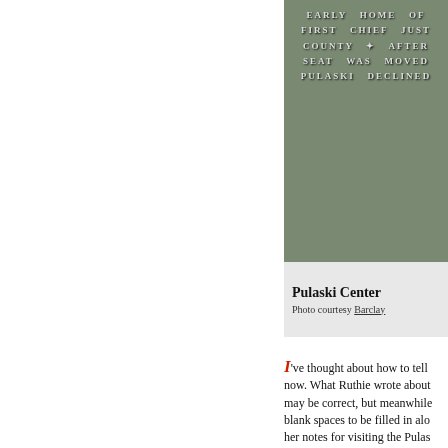[Figure (photo): Close-up photograph of an engraved stone marker with text reading: EARLY HOME OF / FIRST CHIEF JUST / COUNTY AFTER / SEAT WAS MOVED / PULASKI DECLINED]
Pulaski Center
Photo courtesy Barclay
I've thought about how to tell now. What Ruthie wrote about may be correct, but meanwhile blank spaces to be filled in alo her notes for visiting the Pulaski thru a cattle guard stay left at t cleared area for a pipe line, go line, cross fence, and follow it clearing on your left, There is s the marker."
So, let me start at the beginning a while, so, relax, get a cup of your favorite chair. You may do that's okay because I am enjo